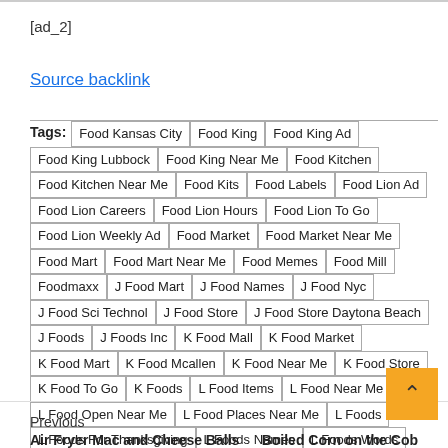[ad_2]
Source backlink
Tags: Food Kansas City | Food King | Food King Ad | Food King Lubbock | Food King Near Me | Food Kitchen | Food Kitchen Near Me | Food Kits | Food Labels | Food Lion Ad | Food Lion Careers | Food Lion Hours | Food Lion To Go | Food Lion Weekly Ad | Food Market | Food Market Near Me | Food Mart | Food Mart Near Me | Food Memes | Food Mill | Foodmaxx | J Food Mart | J Food Names | J Food Nyc | J Food Sci Technol | J Food Store | J Food Store Daytona Beach | J Foods | J Foods Inc | K Food Mall | K Food Market | K Food Mart | K Food Mcallen | K Food Near Me | K Food Store | K Food To Go | K Foods | L Food Items | L Food Near Me | L Food Open Near Me | L Food Places Near Me | L Foods | L Foods For Thanksgiving | L Foods Names | L Foods Words | M Food Mart | M Food Near Me | M Food Store | M Foods
Previous
Air Fryer Mac and Cheese Balls
Boiled Corn on the Cob